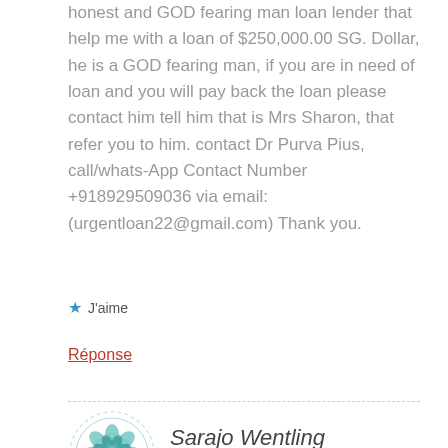honest and GOD fearing man loan lender that help me with a loan of $250,000.00 SG. Dollar, he is a GOD fearing man, if you are in need of loan and you will pay back the loan please contact him tell him that is Mrs Sharon, that refer you to him. contact Dr Purva Pius, call/whats-App Contact Number +918929509036 via email:(urgentloan22@gmail.com) Thank you.
J'aime
Réponse
Sarajo Wentling
18 AVRIL 2019 À 21 H 17 MIN
I think we all know how easily time can slip away from us! I'm really liking where you're going with your bead